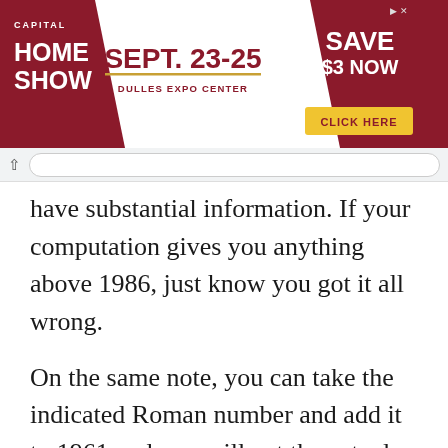[Figure (other): Capital Home Show advertisement banner: SEPT. 23-25, DULLES EXPO CENTER, SAVE $3 NOW, CLICK HERE button]
have substantial information. If your computation gives you anything above 1986, just know you got it all wrong.

On the same note, you can take the indicated Roman number and add it to 1961 and you will get the actual manufacture year. For instance, if your knife bears Roman number XVII (number 17), then the year of manufacture is (1961+17), which is 1978